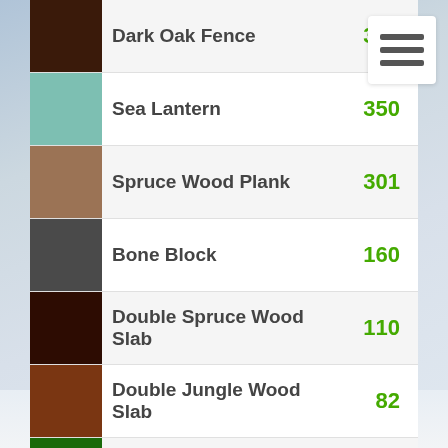| Color | Material | Count |
| --- | --- | --- |
| [dark oak/brown] | Dark Oak Fence | 352 |
| [sea/teal] | Sea Lantern | 350 |
| [spruce/tan-brown] | Spruce Wood Plank | 301 |
| [bone/dark gray] | Bone Block | 160 |
| [dark brown] | Double Spruce Wood Slab | 110 |
| [jungle/medium brown] | Double Jungle Wood Slab | 82 |
| [dark green] | Grass | 61 |
| [hot pink] | View Other Materials | 18 |